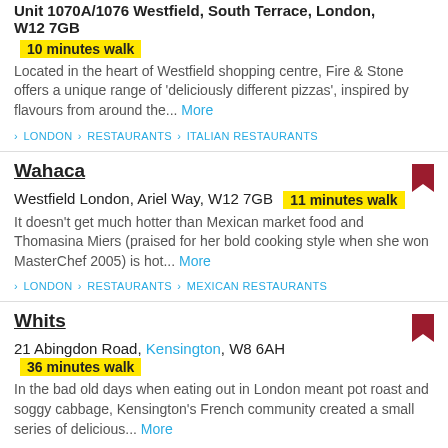Unit 1070A/1076 Westfield, South Terrace, London, W12 7GB
10 minutes walk
Located in the heart of Westfield shopping centre, Fire & Stone offers a unique range of 'deliciously different pizzas', inspired by flavours from around the... More
> LONDON > RESTAURANTS > ITALIAN RESTAURANTS
Wahaca
Westfield London, Ariel Way, W12 7GB  11 minutes walk
It doesn't get much hotter than Mexican market food and Thomasina Miers (praised for her bold cooking style when she won MasterChef 2005) is hot... More
> LONDON > RESTAURANTS > MEXICAN RESTAURANTS
Whits
21 Abingdon Road, Kensington, W8 6AH  36 minutes walk
In the bad old days when eating out in London meant pot roast and soggy cabbage, Kensington's French community created a small series of delicious... More